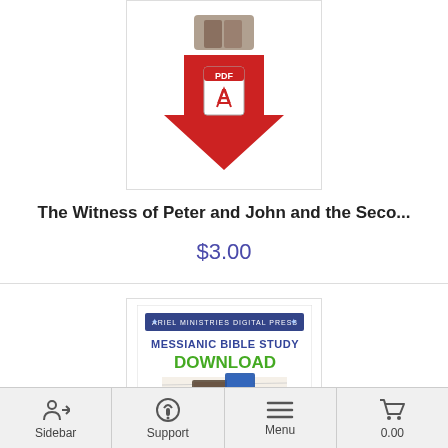[Figure (illustration): Product thumbnail showing a red downward-pointing arrow with a PDF icon (Adobe PDF logo) on it, and a person holding books at the top. White background with thin border.]
The Witness of Peter and John and the Seco...
$3.00
[Figure (illustration): Second product thumbnail: Ariel Ministries Digital Press - Messianic Bible Study Download. Shows text 'MESSIANIC BIBLE STUDY' in blue and 'DOWNLOAD' in green, with books/study materials visible below.]
Sidebar  Support  Menu  0.00